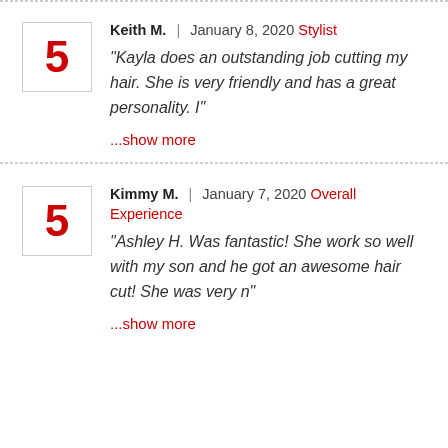Keith M. | January 8, 2020 Stylist
"Kayla does an outstanding job cutting my hair. She is very friendly and has a great personality. I"
...show more
Kimmy M. | January 7, 2020 Overall Experience
"Ashley H. Was fantastic! She work so well with my son and he got an awesome hair cut! She was very n"
...show more